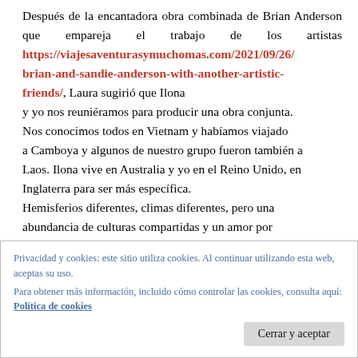Después de la encantadora obra combinada de Brian Anderson que empareja el trabajo de los artistas https://viajesaventurasymuchomas.com/2021/09/26/brian-and-sandie-anderson-with-another-artistic-friends/, Laura sugirió que Ilona y yo nos reuniéramos para producir una obra conjunta. Nos conocimos todos en Vietnam y habíamos viajado a Camboya y algunos de nuestro grupo fueron también a Laos. Ilona vive en Australia y yo en el Reino Unido, en Inglaterra para ser más específica. Hemisferios diferentes, climas diferentes, pero una abundancia de culturas compartidas y un amor por
Privacidad y cookies: este sitio utiliza cookies. Al continuar utilizando esta web, aceptas su uso. Para obtener más información, incluido cómo controlar las cookies, consulta aquí: Política de cookies